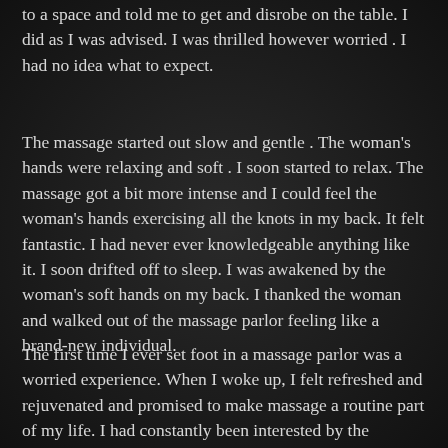to a space and told me to get and disrobe on the table. I did as I was advised. I was thrilled however worried . I had no idea what to expect.
The massage started out slow and gentle . The woman's hands were relaxing and soft . I soon started to relax. The massage got a bit more intense and I could feel the woman's hands exercising all the knots in my back. It felt fantastic. I had never ever knowledgeable anything like it. I soon drifted off to sleep. I was awakened by the woman's soft hands on my back. I thanked the woman and walked out of the massage parlor feeling like a brand-new individual.
The first time I ever set foot in a massage parlor was a worried experience. When I woke up, I felt refreshed and rejuvenated and promised to make massage a routine part of my life. I had constantly been interested by the